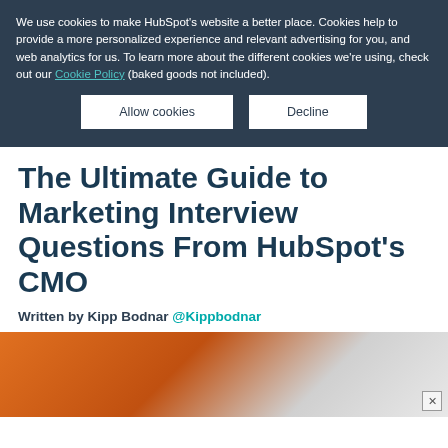We use cookies to make HubSpot's website a better place. Cookies help to provide a more personalized experience and relevant advertising for you, and web analytics for us. To learn more about the different cookies we're using, check out our Cookie Policy (baked goods not included).
Allow cookies | Decline
The Ultimate Guide to Marketing Interview Questions From HubSpot's CMO
Written by Kipp Bodnar @Kippbodnar
[Figure (photo): Partial photo of a person, cropped, with orange/warm background tones on the left and lighter tones on the right]